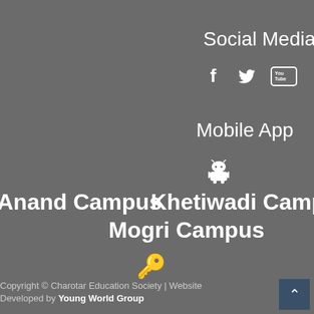Social Media
[Figure (illustration): Social media icons: Facebook (f), Twitter (bird), YouTube (You tube box)]
Mobile App
[Figure (illustration): Android robot icon]
Anand Campus   Khetiwadi Campus
Mogri Campus
[Figure (illustration): Person with key icon]
Copyright © Charotar Education Society | Website
Developed by Young World Group